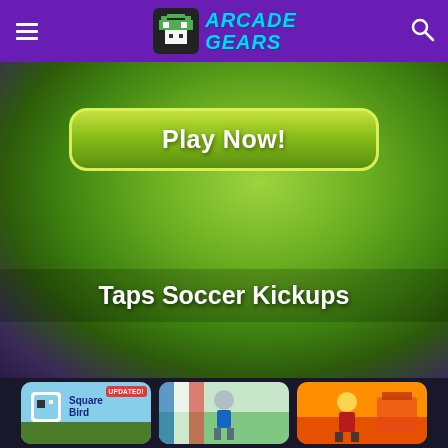Arcade Gears
[Figure (screenshot): Hero banner with radial green gradient background showing a 'Play Now!' button and game title 'Taps Soccer Kickups']
Taps Soccer Kickups
[Figure (screenshot): Bottom row showing three game thumbnail images: Square Bird (with UPDATED badge), a soccer/sports game, and another game]